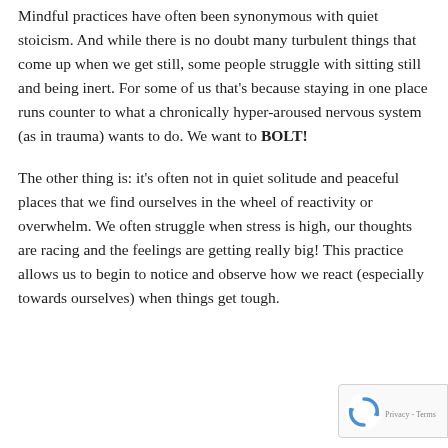Mindful practices have often been synonymous with quiet stoicism. And while there is no doubt many turbulent things that come up when we get still, some people struggle with sitting still and being inert. For some of us that's because staying in one place runs counter to what a chronically hyper-aroused nervous system (as in trauma) wants to do. We want to BOLT!
The other thing is: it's often not in quiet solitude and peaceful places that we find ourselves in the wheel of reactivity or overwhelm. We often struggle when stress is high, our thoughts are racing and the feelings are getting really big! This practice allows us to begin to notice and observe how we react (especially towards ourselves) when things get tough.